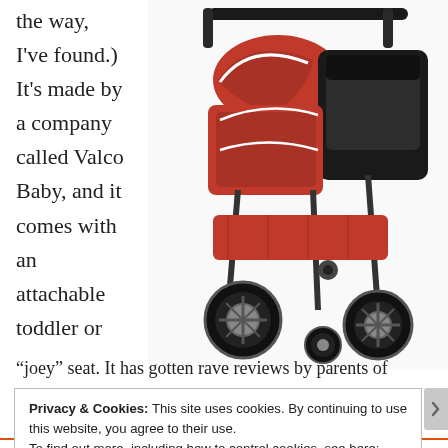the way, I've found.) It's made by a company called Valco Baby, and it comes with an attachable toddler or
[Figure (photo): Red and black Valco Baby triple stroller with large wheels and an attachable toddler seat, photographed on white background]
“joey” seat. It has gotten rave reviews by parents of
Privacy & Cookies: This site uses cookies. By continuing to use this website, you agree to their use.
To find out more, including how to control cookies, see here: Cookie Policy